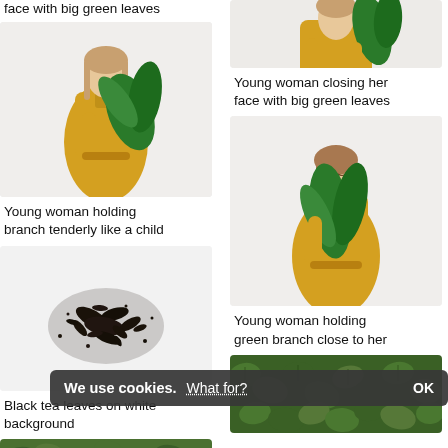face with big green leaves
[Figure (photo): Young woman in yellow dress holding big green leaves, covering face]
Young woman holding branch tenderly like a child
[Figure (photo): Black tea leaves scattered on white background]
Black tea leaves on white background
[Figure (photo): Green leafy ground cover plants from above, partial view]
[Figure (photo): Young woman in yellow dress, top portion cropped, holding green leaves]
Young woman closing her face with big green leaves
[Figure (photo): Young woman in yellow dress holding green branch close, eyes closed]
Young woman holding green branch close to her
[Figure (photo): Dense green ivy or ground cover plants filling frame]
We use cookies. What for? OK